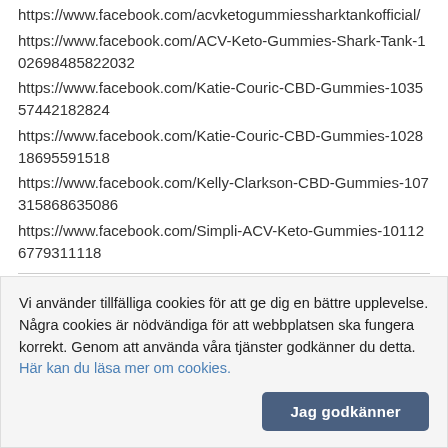https://www.facebook.com/acvketogummiessharktankofficial/
https://www.facebook.com/ACV-Keto-Gummies-Shark-Tank-102698485822032
https://www.facebook.com/Katie-Couric-CBD-Gummies-103557442182824
https://www.facebook.com/Katie-Couric-CBD-Gummies-102818695591518
https://www.facebook.com/Kelly-Clarkson-CBD-Gummies-107315868635086
https://www.facebook.com/Simpli-ACV-Keto-Gummies-101126779311118
20 juni 2022 12:30 av primashopbuy
Prima Weight Loss United Kingdom
Vi använder tillfälliga cookies för att ge dig en bättre upplevelse. Några cookies är nödvändiga för att webbplatsen ska fungera korrekt. Genom att använda våra tjänster godkänner du detta. Här kan du läsa mer om cookies.